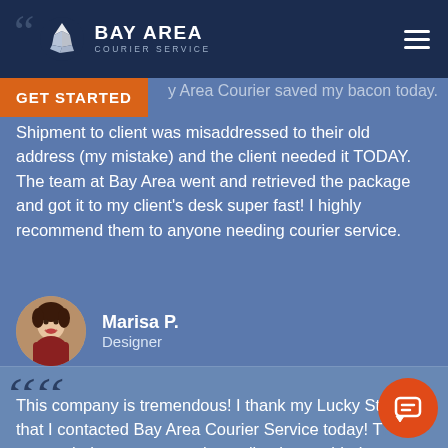BAY AREA COURIER SERVICE
GET STARTED
Bay Area Courier saved my bacon today. Shipment to client was misaddressed to their old address (my mistake) and the client needed it TODAY. The team at Bay Area went and retrieved the package and got it to my client's desk super fast! I highly recommend them to anyone needing courier service.
Marisa P.
Designer
This company is tremendous! I thank my Lucky Stars that I contacted Bay Area Courier Service today! They responded to my request immediately, provided a quote, and completely resolved a near disaster.